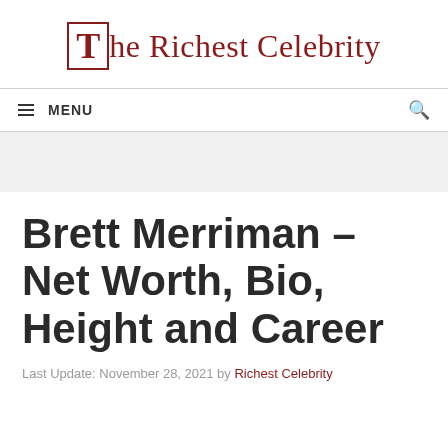The Richest Celebrity
MENU
[Figure (other): Gray banner/advertisement area]
Brett Merriman – Net Worth, Bio, Height and Career
Last Update: November 28, 2021 by Richest Celebrity